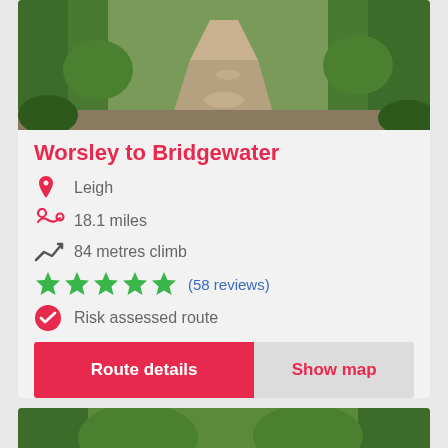[Figure (photo): A forest path/trail with dirt surface, surrounded by green trees and vegetation, viewed from ground level leading into the distance.]
Worsley to Bridgewater
Leigh
18.1 miles
84 metres climb
(58 reviews)
Risk assessed route
Route details
Show map
[Figure (photo): Bottom of page: another forest/greenery trail photo partially visible.]